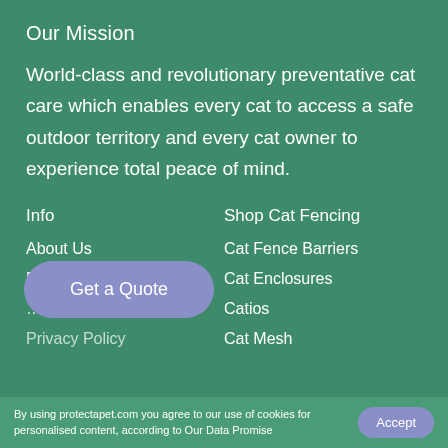Our Mission
World-class and revolutionary preventative cat care which enables every cat to access a safe outdoor territory and every cat owner to experience total peace of mind.
Info
Shop Cat Fencing
About Us
Cat Fence Barriers
FAQs
Cat Enclosures
...ions (partially obscured by Get a Quote button)
Catios
Privacy Policy (partially obscured)
Cat Mesh
Get a Quote
By using protectapet.com you agree to our use of cookies for personalised content, according to Our Data Promise